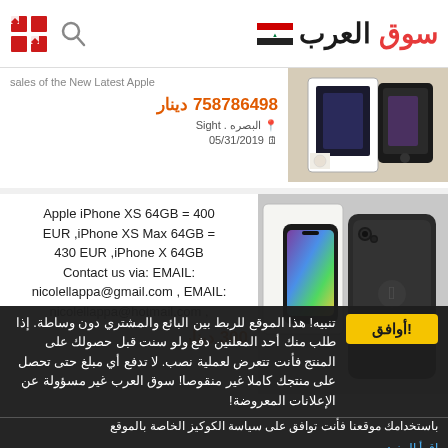سوق العرب - logo and search icon header
sales of the New Latest Apple
758786498 دینار
البصره . Sight
05/31/2019
[Figure (photo): Apple iPhone box product photo]
Apple iPhone XS 64GB = 400 EUR ,iPhone XS Max 64GB = 430 EUR ,iPhone X 64GB
Contact us via: EMAIL: nicolellappa@gmail.com , EMAIL: nicolellappa@hotmail.com ,
300 دینار
[Figure (photo): Apple iPhone XS phones product photo]
تنبیه! هذا الموقع للربط بین البائع والمشتري دون وساطة. إذا طلب منك أحد المعلنین دفع ولو سنت قبل حصولك على المنتج فأنت تتعرض لعملیة نصب. لا تدفع أي مبلغ حتى تحصل على منتجك كاملا غیر منقوصا! سوق العرب غیر مسؤولة عن الإعلانات المعروضة!
أوافق!
باستخدامك موقعنا فأنت توافق على سیاسة الكوكیز الخاصة بالموقع
إقرأ المزيد